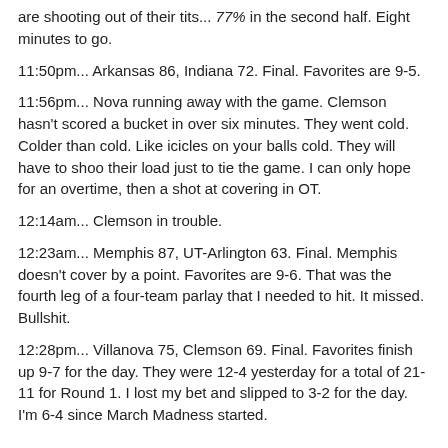are shooting out of their tits... 77% in the second half. Eight minutes to go.
11:50pm... Arkansas 86, Indiana 72. Final. Favorites are 9-5.
11:56pm... Nova running away with the game. Clemson hasn't scored a bucket in over six minutes. They went cold. Colder than cold. Like icicles on your balls cold. They will have to shoo their load just to tie the game. I can only hope for an overtime, then a shot at covering in OT.
12:14am... Clemson in trouble.
12:23am... Memphis 87, UT-Arlington 63. Final. Memphis doesn't cover by a point. Favorites are 9-6. That was the fourth leg of a four-team parlay that I needed to hit. It missed. Bullshit.
12:28pm... Villanova 75, Clemson 69. Final. Favorites finish up 9-7 for the day. They were 12-4 yesterday for a total of 21-11 for Round 1. I lost my bet and slipped to 3-2 for the day. I'm 6-4 since March Madness started.